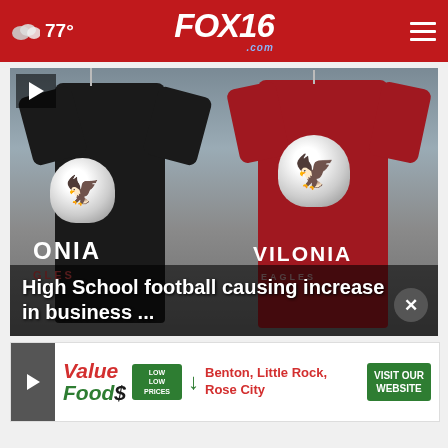FOX16.com | 77°
[Figure (photo): Two Vilonia Eagles t-shirts hanging on hangers — one dark navy, one red — both with eagle logo and VILONIA text. Video player thumbnail with play button.]
High School football causing increase in business ...
[Figure (photo): Value Foods advertisement banner: Value Foods$ logo, LOW LOW PRICES badge, Benton, Little Rock, Rose City locations, VISIT OUR WEBSITE button]